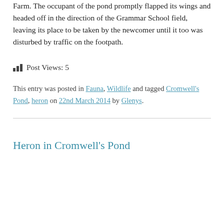Farm. The occupant of the pond promptly flapped its wings and headed off in the direction of the Grammar School field, leaving its place to be taken by the newcomer until it too was disturbed by traffic on the footpath.
Post Views: 5
This entry was posted in Fauna, Wildlife and tagged Cromwell's Pond, heron on 22nd March 2014 by Glenys.
Heron in Cromwell's Pond